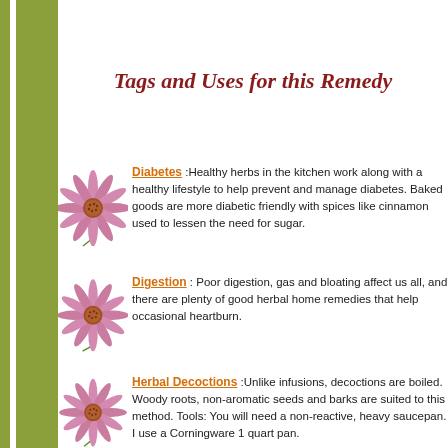Tags and Uses for this Remedy
Diabetes :Healthy herbs in the kitchen work along with a healthy lifestyle to help prevent and manage diabetes. Baked goods are more diabetic friendly with spices like cinnamon used to lessen the need for sugar.
Digestion : Poor digestion, gas and bloating affect us all, and there are plenty of good herbal home remedies that help occasional heartburn.
Herbal Decoctions :Unlike infusions, decoctions are boiled. Woody roots, non-aromatic seeds and barks are suited to this method. Tools: You will need a non-reactive, heavy saucepan. I use a Corningware 1 quart pan.